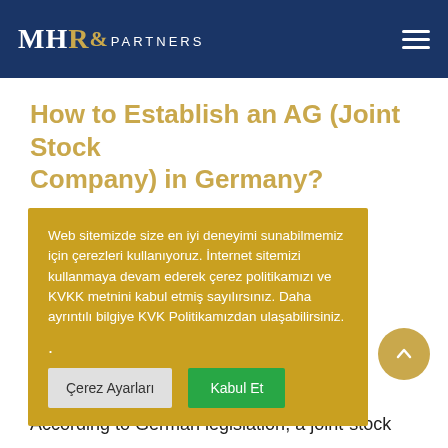MHR& PARTNERS
How to Establish an AG (Joint Stock Company) in Germany?
most any is AG company. Like ck company natural or nies, as in ssociation of
Web sitemizde size en iyi deneyimi sunabilmemiz için çerezleri kullanıyoruz. İnternet sitemizi kullanmaya devam ederek çerez politikamızı ve KVKK metnini kabul etmiş sayılırsınız. Daha ayrıntılı bilgiye KVK Politikamızdan ulaşabilirsiniz.
According to German legislation, a joint-stock